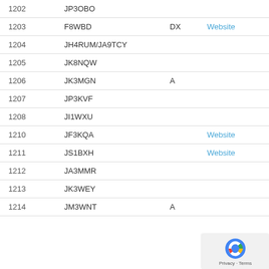| # | Callsign | Flag | Link |
| --- | --- | --- | --- |
| 1202 | JP3OBO |  |  |
| 1203 | F8WBD | DX | Website |
| 1204 | JH4RUM/JA9TCY |  |  |
| 1205 | JK8NQW |  |  |
| 1206 | JK3MGN | A |  |
| 1207 | JP3KVF |  |  |
| 1208 | JI1WXU |  |  |
| 1210 | JF3KQA |  | Website |
| 1211 | JS1BXH |  | Website |
| 1212 | JA3MMR |  |  |
| 1213 | JK3WEY |  |  |
| 1214 | JM3WNT | A |  |